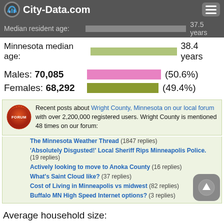City-Data.com
Median resident age: 37.5 years
Minnesota median age: 38.4 years
Males: 70,085 (50.6%)
Females: 68,292 (49.4%)
Recent posts about Wright County, Minnesota on our local forum with over 2,200,000 registered users. Wright County is mentioned 48 times on our forum:
The Minnesota Weather Thread (1847 replies)
'Absolutely Disgusted!' Local Sheriff Rips Minneapolis Police. (19 replies)
Actively looking to move to Anoka County (16 replies)
What's Saint Cloud like? (37 replies)
Cost of Living in Minneapolis vs midwest (82 replies)
Buffalo MN High Speed Internet options? (3 replies)
Average household size: